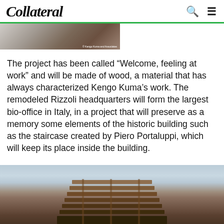Collateral
[Figure (photo): Partial top image showing a building or architectural detail, cropped at the top of the page, with a small copyright notice '© Kengo Kuma and Associates']
The project has been called “Welcome, feeling at work” and will be made of wood, a material that has always characterized Kengo Kuma’s work. The remodeled Rizzoli headquarters will form the largest bio-office in Italy, in a project that will preserve as a memory some elements of the historic building such as the staircase created by Piero Portaluppi, which will keep its place inside the building.
[Figure (photo): Architectural photo of a multi-story wooden building with horizontal slat-style facade, shot from below against a light sky background. Partially cropped at the bottom of the page.]